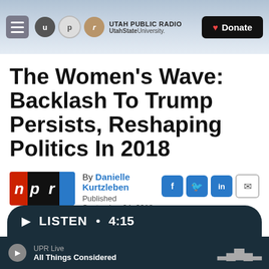Utah Public Radio — UtahState University — Donate
The Women's Wave: Backlash To Trump Persists, Reshaping Politics In 2018
By Danielle Kurtzleben
Published September 24, 2018 at 3:00 AM MDT
LISTEN • 4:15
UPR Live
All Things Considered